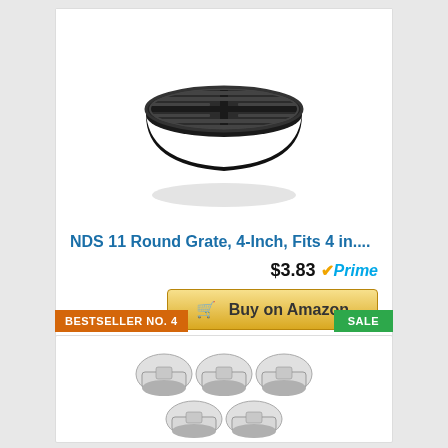[Figure (photo): Black round NDS drain grate, 4-inch, circular grate with slotted openings and a cross brace]
NDS 11 Round Grate, 4-Inch, Fits 4 in....
$3.83 Prime
Buy on Amazon
BESTSELLER NO. 4
SALE
[Figure (photo): Six small white and gray drain cap plugs arranged in two rows of three]